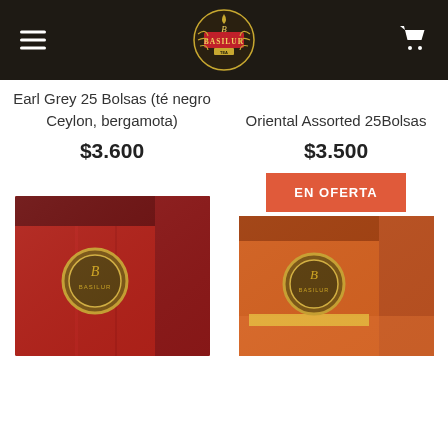[Figure (screenshot): Basilur Tea website header with dark brown background, hamburger menu icon on left, Basilur logo (gold crest) in center, shopping cart icon on right]
Earl Grey 25 Bolsas (té negro Ceylon, bergamota)
$3.600
Oriental Assorted 25Bolsas
$3.500
EN OFERTA
[Figure (photo): Basilur tea box with red packaging, partially visible at bottom left]
[Figure (photo): Basilur tea box with orange/warm packaging, partially visible at bottom right]